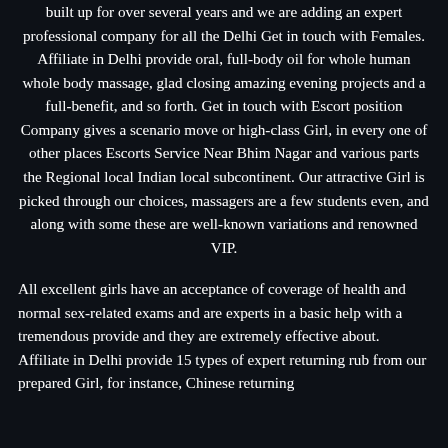built up for over several years and we are adding an expert professional company for all the Delhi Get in touch with Females. Affiliate in Delhi provide oral, full-body oil for whole human whole body massage, glad closing amazing evening projects and a full-benefit, and so forth. Get in touch with Escort position Company gives a scenario move or high-class Girl, in every one of other places Escorts Service Near Bhim Nagar and various parts the Regional local Indian local subcontinent. Our attractive Girl is picked through our choices, massagers are a few students even, and along with some these are well-known variations and renowned VIP.
All excellent girls have an acceptance of coverage of health and normal sex-related exams and are experts in a basic help with a tremendous provide and they are extremely effective about. Affiliate in Delhi provide 15 types of expert returning rub from our prepared Girl, for instance, Chinese returning